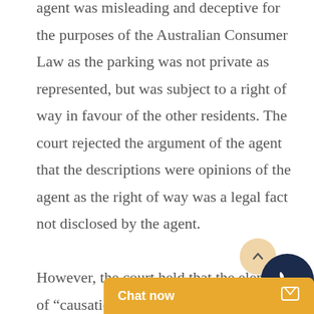agent was misleading and deceptive for the purposes of the Australian Consumer Law as the parking was not private as represented, but was subject to a right of way in favour of the other residents. The court rejected the argument of the agent that the descriptions were opinions of the agent as the right of way was a legal fact not disclosed by the agent.

However, the court held that the element of "causation" was not established.

The key ques...